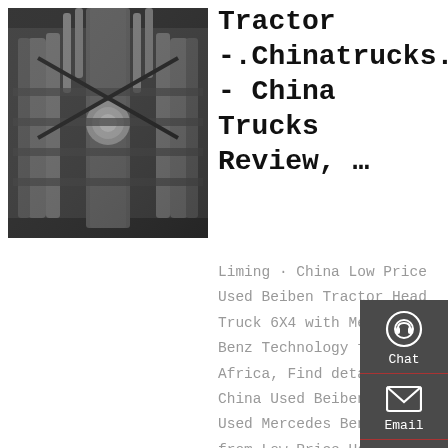[Figure (photo): Close-up photo of a truck engine, showing cylinders, exhaust pipes and mechanical components, in black and white/silver tones]
Tractor -.Chinatrucks.Com - China Trucks Review, …
Liming · China Low Price Used Beiben Tractor Head Truck 6X4 with Mercedes Benz Technology for Africa, Find details about China Used Beiben Truck, Used Mercedes Benz Truck from Low Price Used Beiben Tractor Head Truck 6X4 with Mercedes Benz
[Figure (infographic): Sidebar with Chat, Email, Contact, and Top buttons on dark grey background]